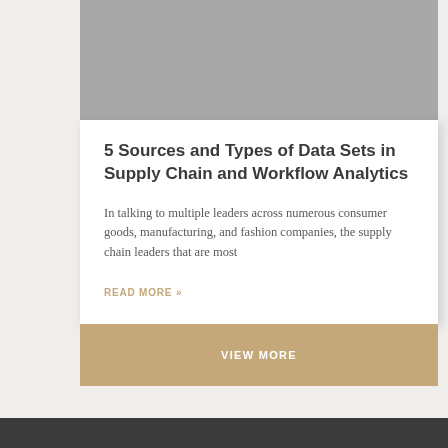[Figure (photo): Gray placeholder image area at the top of a card]
5 Sources and Types of Data Sets in Supply Chain and Workflow Analytics
In talking to multiple leaders across numerous consumer goods, manufacturing, and fashion companies, the supply chain leaders that are most
READ MORE »
VIEW MORE